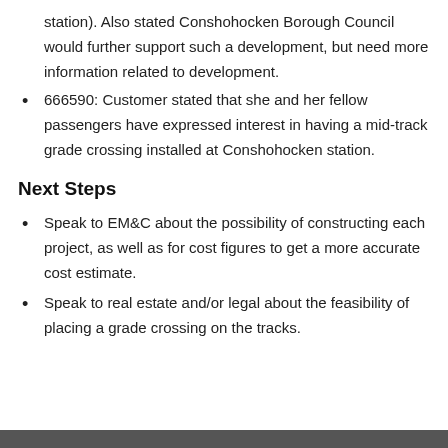station). Also stated Conshohocken Borough Council would further support such a development, but need more information related to development.
666590: Customer stated that she and her fellow passengers have expressed interest in having a mid-track grade crossing installed at Conshohocken station.
Next Steps
Speak to EM&C about the possibility of constructing each project, as well as for cost figures to get a more accurate cost estimate.
Speak to real estate and/or legal about the feasibility of placing a grade crossing on the tracks.